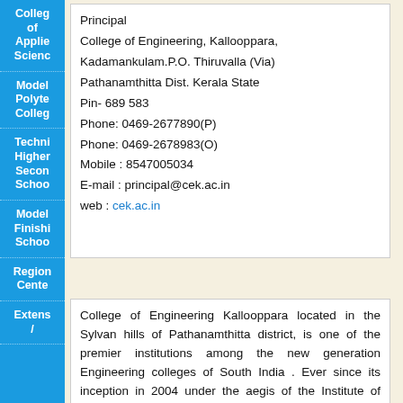College of Applied Science
Model Polytechnic College
Technical Higher Secondary School
Model Finishing School
Regional Center
Extension /
Principal
College of Engineering, Kallooppara,
Kadamankulam.P.O. Thiruvalla (Via)
Pathanamthitta Dist. Kerala State
Pin- 689 583
Phone: 0469-2677890(P)
Phone: 0469-2678983(O)
Mobile : 8547005034
E-mail : principal@cek.ac.in
web : cek.ac.in
College of Engineering Kallooppara located in the Sylvan hills of Pathanamthitta district, is one of the premier institutions among the new generation Engineering colleges of South India . Ever since its inception in 2004 under the aegis of the Institute of Human Resources Development (IHRD-a Govt. of Kerala undertaking) the college has already made its presence felt in the technical horizon of the State. The institution offers undergraduate courses